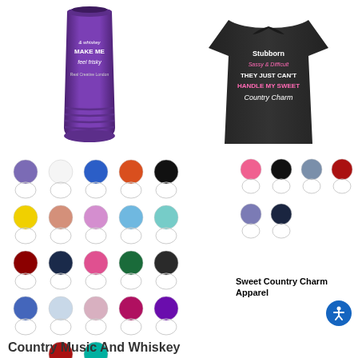[Figure (photo): Purple tumbler/cup with text 'country music & whiskey MAKE ME feel frisky' printed on it]
[Figure (photo): Black t-shirt with text 'Stubborn Sassy & Difficult THEY JUST CAN'T HANDLE MY SWEET Country Charm']
[Figure (other): Color swatch options for the tumbler product - showing circles of various colors including purple, white, blue, orange, black, yellow, salmon, pink, light blue, teal, dark red, navy, pink, green, black glitter, blue glitter, light blue, pink glitter, magenta, purple, red glitter, teal glitter]
[Figure (other): Color swatch options for the apparel product - showing circles of various colors including pink, black, slate blue, red, gray, purple, dark navy]
Sweet Country Charm Apparel
Country Music And Whiskey